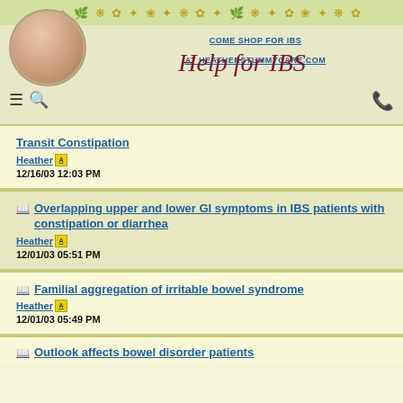[Figure (screenshot): Help for IBS website header with floral decoration, profile photo, navigation icons, shop link, and cursive logo]
Transit Constipation | Heather | 12/16/03 12:03 PM
Overlapping upper and lower GI symptoms in IBS patients with constipation or diarrhea | Heather | 12/01/03 05:51 PM
Familial aggregation of irritable bowel syndrome | Heather | 12/01/03 05:49 PM
Outlook affects bowel disorder patients